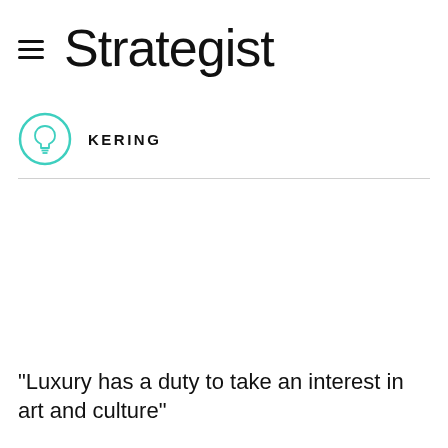Strategist
KERING
“Luxury has a duty to take an interest in art and culture”